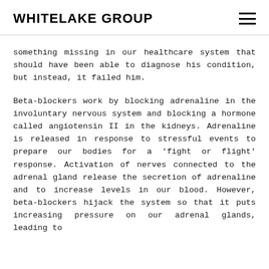WHITELAKE GROUP
something missing in our healthcare system that should have been able to diagnose his condition, but instead, it failed him.
Beta-blockers work by blocking adrenaline in the involuntary nervous system and blocking a hormone called angiotensin II in the kidneys. Adrenaline is released in response to stressful events to prepare our bodies for a 'fight or flight' response. Activation of nerves connected to the adrenal gland release the secretion of adrenaline and to increase levels in our blood. However, beta-blockers hijack the system so that it puts increasing pressure on our adrenal glands, leading to